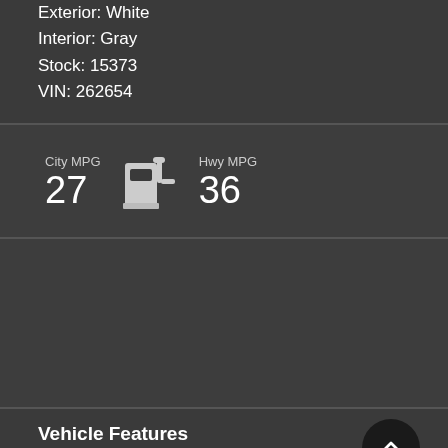Exterior: White
Interior: Gray
Stock: 15373
VIN: 262654
[Figure (infographic): Fuel pump icon with City MPG 27 and Hwy MPG 36]
Vehicle Features
ABS (4-Wheel)
Air Conditioning
Alarm System
Alloy Wheels
AM/FM Stereo w/MyLink
Backup Camera